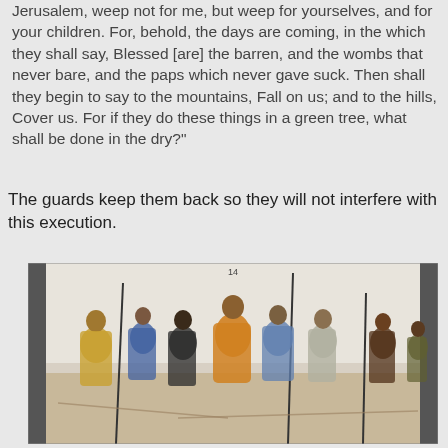Jerusalem, weep not for me, but weep for yourselves, and for your children. For, behold, the days are coming, in the which they shall say, Blessed [are] the barren, and the wombs that never bare, and the paps which never gave suck. Then shall they begin to say to the mountains, Fall on us; and to the hills, Cover us. For if they do these things in a green tree, what shall be done in the dry?"
The guards keep them back so they will not interfere with this execution.
[Figure (illustration): A wide horizontal painting or artwork depicting a group of figures in robes and garments, some carrying spears or staffs. The scene appears to be a religious or historical narrative, with figures in yellow, blue, orange, and earth tones gathered together. The style is loose and expressive, resembling a sketch or mural. A small '14' label appears at the top center of the image.]